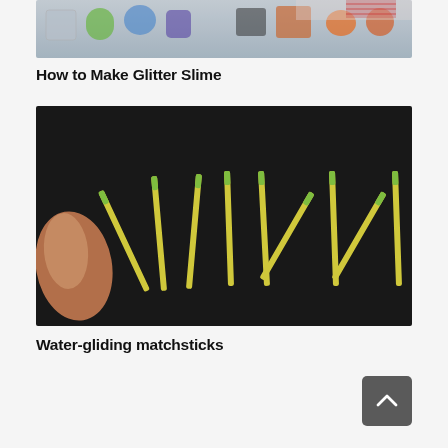[Figure (photo): Photo showing colorful containers of glitter slime ingredients on a table with a child in a striped shirt in the background]
How to Make Glitter Slime
[Figure (photo): Photo of glowing matchsticks arranged in patterns on a dark black background, with a hand holding one matchstick on the left side]
Water-gliding matchsticks